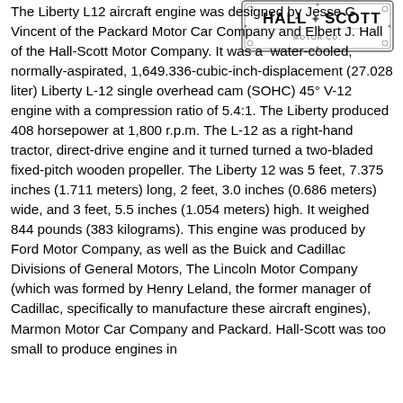[Figure (logo): Hall-Scott company logo with decorative border, text reads HALL-SCOTT]
The Liberty L12 aircraft engine was designed by Jesse G. Vincent of the Packard Motor Car Company and Elbert J. Hall of the Hall-Scott Motor Company. It was a water-cooled, normally-aspirated, 1,649.336-cubic-inch-displacement (27.028 liter) Liberty L-12 single overhead cam (SOHC) 45° V-12 engine with a compression ratio of 5.4:1. The Liberty produced 408 horsepower at 1,800 r.p.m. The L-12 as a right-hand tractor, direct-drive engine and it turned turned a two-bladed fixed-pitch wooden propeller. The Liberty 12 was 5 feet, 7.375 inches (1.711 meters) long, 2 feet, 3.0 inches (0.686 meters) wide, and 3 feet, 5.5 inches (1.054 meters) high. It weighed 844 pounds (383 kilograms). This engine was produced by Ford Motor Company, as well as the Buick and Cadillac Divisions of General Motors, The Lincoln Motor Company (which was formed by Henry Leland, the former manager of Cadillac, specifically to manufacture these aircraft engines), Marmon Motor Car Company and Packard. Hall-Scott was too small to produce engines in